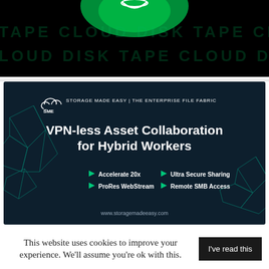[Figure (illustration): Dark banner with green radial glow at top center, repeating watermark text TAPE CLOUD DISK in dark teal on black background]
[Figure (infographic): Storage Made Easy | The Enterprise File Fabric advertisement on dark navy background. Features SME cloud logo, headline 'VPN-less Asset Collaboration for Hybrid Workers', bullet points: Accelerate 20x, ProRes WebStream, Ultra Secure Sharing, Remote SMB Access. URL: www.storagemadeeasy.com. Geometric wireframe decorations on sides.]
This website uses cookies to improve your experience. We'll assume you're ok with this.
I've read this